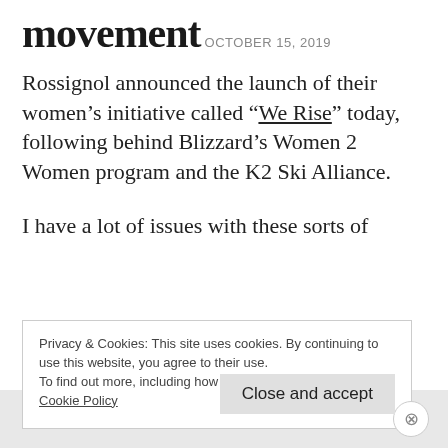movement
OCTOBER 15, 2019
Rossignol announced the launch of their women's initiative called “We Rise” today, following behind Blizzard’s Women 2 Women program and the K2 Ski Alliance.
I have a lot of issues with these sorts of
Privacy & Cookies: This site uses cookies. By continuing to use this website, you agree to their use.
To find out more, including how to control cookies, see here: Cookie Policy
Close and accept